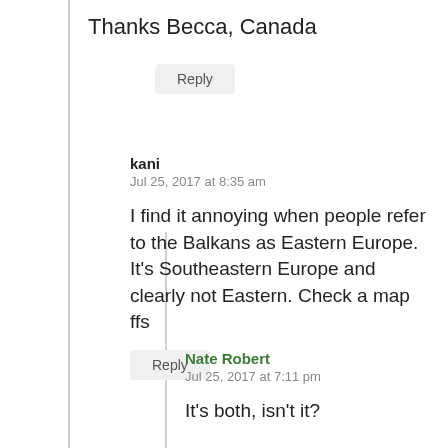Thanks Becca, Canada
Reply
kani
Jul 25, 2017 at 8:35 am

I find it annoying when people refer to the Balkans as Eastern Europe. It's Southeastern Europe and clearly not Eastern. Check a map ffs
Reply
Nate Robert
Jul 25, 2017 at 7:11 pm

It's both, isn't it?